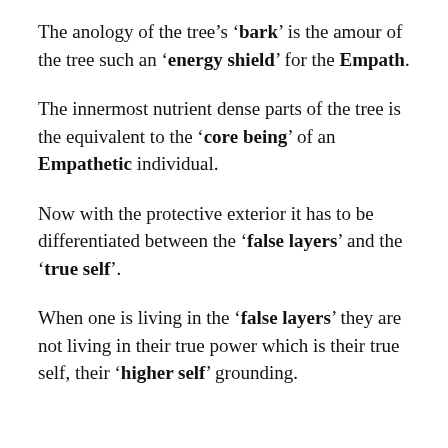The anology of the tree's 'bark' is the amour of the tree such an 'energy shield' for the Empath.
The innermost nutrient dense parts of the tree is the equivalent to the 'core being' of an Empathetic individual.
Now with the protective exterior it has to be differentiated between the 'false layers' and the 'true self'.
When one is living in the 'false layers' they are not living in their true power which is their true self, their 'higher self' grounding.